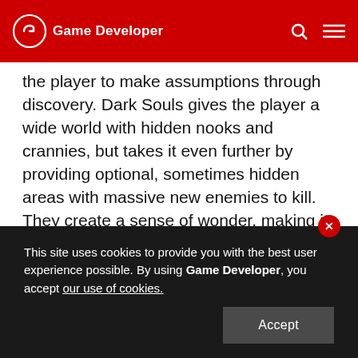Game Developer
the player to make assumptions through discovery. Dark Souls gives the player a wide world with hidden nooks and crannies, but takes it even further by providing optional, sometimes hidden areas with massive new enemies to kill. They create a sense of wonder, making it almost impossible to assume that the game is truly complete. When the enemies you kill respawn every time you rest, there is always more to kill.

Every video game has a target audience, however
This site uses cookies to provide you with the best user experience possible. By using Game Developer, you accept our use of cookies.